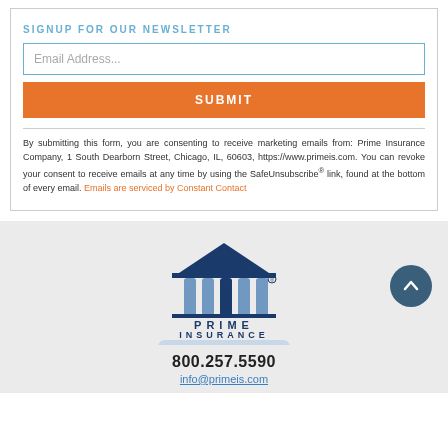SIGNUP FOR OUR NEWSLETTER
Email Address...
SUBMIT
By submitting this form, you are consenting to receive marketing emails from: Prime Insurance Company, 1 South Dearborn Street, Chicago, IL, 60603, https://www.primeis.com. You can revoke your consent to receive emails at any time by using the SafeUnsubscribe® link, found at the bottom of every email. Emails are serviced by Constant Contact
[Figure (logo): Prime Insurance Company logo with blue triangular roof and pillars above text PRIME INSURANCE COMPANY]
800.257.5590
info@primeis.com